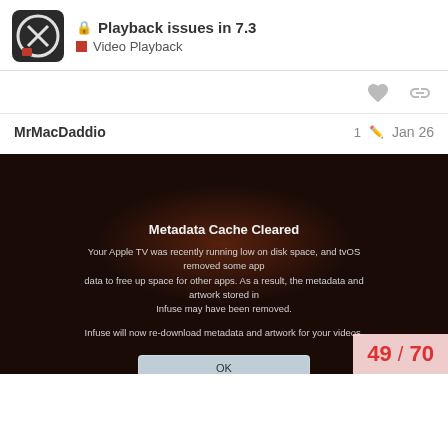Playback issues in 7.3 — Video Playback
MrMacDaddio   1   Jan 26
[Figure (screenshot): Screenshot of an Apple TV / Infuse app dialog box on a dark background reading: 'Metadata Cache Cleared — Your Apple TV was recently running low on disk space, and tvOS removed some app data to free up space for other apps. As a result, the metadata and artwork stored in Infuse may have been removed. Infuse will now re-download metadata and artwork for your videos.' with an OK button.]
49 / 70